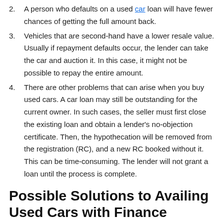2. A person who defaults on a used car loan will have fewer chances of getting the full amount back.
3. Vehicles that are second-hand have a lower resale value. Usually if repayment defaults occur, the lender can take the car and auction it. In this case, it might not be possible to repay the entire amount.
4. There are other problems that can arise when you buy used cars. A car loan may still be outstanding for the current owner. In such cases, the seller must first close the existing loan and obtain a lender’s no-objection certificate. Then, the hypothecation will be removed from the registration (RC), and a new RC booked without it. This can be time-consuming. The lender will not grant a loan until the process is complete.
Possible Solutions to Availing Used Cars with Finance